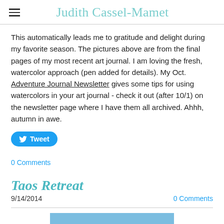Judith Cassel-Mamet
This automatically leads me to gratitude and delight during my favorite season. The pictures above are from the final pages of my most recent art journal. I am loving the fresh, watercolor approach (pen added for details). My Oct. Adventure Journal Newsletter gives some tips for using watercolors in your art journal - check it out (after 10/1) on the newsletter page where I have them all archived. Ahhh, autumn in awe.
Tweet
0 Comments
Taos Retreat
9/14/2014
0 Comments
[Figure (photo): Partial blue image at the bottom of the page]